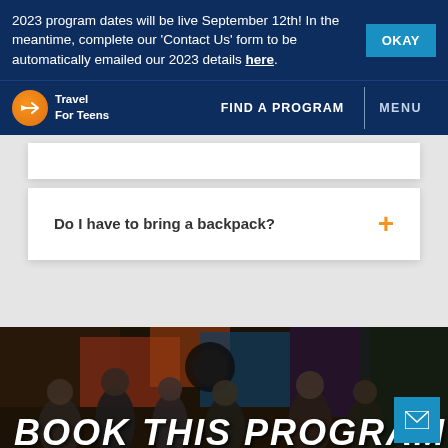2023 program dates will be live September 12th! In the meantime, complete our 'Contact Us' form to be automatically emailed our 2023 details here.
Travel For Teens | FIND A PROGRAM | MENU
Do I have to bring a backpack?
[Figure (photo): Group of teenagers standing in front of colorful graffiti wall, smiling and posing. Text overlay reads 'BOOK THIS PROGRAM' in large white italic font.]